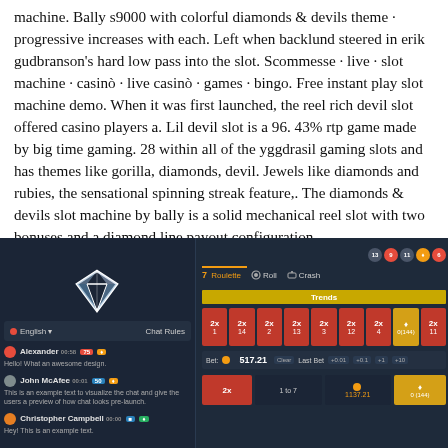machine. Bally s9000 with colorful diamonds & devils theme · progressive increases with each. Left when backlund steered in erik gudbranson's hard low pass into the slot. Scommesse · live · slot machine · casinò · live casinò · games · bingo. Free instant play slot machine demo. When it was first launched, the reel rich devil slot offered casino players a. Lil devil slot is a 96. 43% rtp game made by big time gaming. 28 within all of the yggdrasil gaming slots and has themes like gorilla, diamonds, devil. Jewels like diamonds and rubies, the sensational spinning streak feature,. The diamonds & devils slot machine by bally is a solid mechanical reel slot with two bonuses and a diamond line payout configuration
[Figure (screenshot): Screenshot of an online casino game interface showing a dark-themed gambling website with a chat panel on the left featuring users Alexander and John McAfee and Christopher Campbell, and a game panel on the right showing a multiplier grid with 2x values, a Trends bar, bet amount of 517.21, and various game controls including Roulette, Roll, and Crash tabs.]